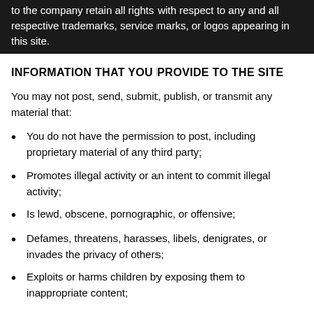to the company retain all rights with respect to any and all respective trademarks, service marks, or logos appearing in this site.
INFORMATION THAT YOU PROVIDE TO THE SITE
You may not post, send, submit, publish, or transmit any material that:
You do not have the permission to post, including proprietary material of any third party;
Promotes illegal activity or an intent to commit illegal activity;
Is lewd, obscene, pornographic, or offensive;
Defames, threatens, harasses, libels, denigrates, or invades the privacy of others;
Exploits or harms children by exposing them to inappropriate content;